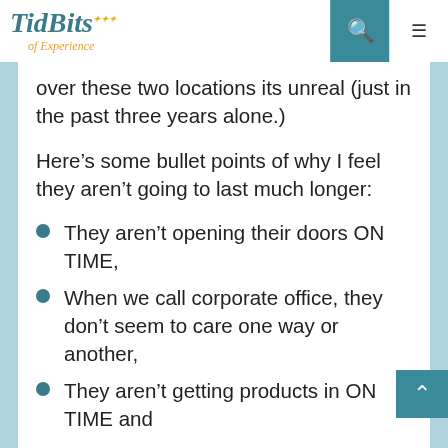TidBits of Experience
over these two locations its unreal (just in the past three years alone.)
Here’s some bullet points of why I feel they aren’t going to last much longer:
They aren’t opening their doors ON TIME,
When we call corporate office, they don’t seem to care one way or another,
They aren’t getting products in ON TIME and
There is a lack of professionalism.